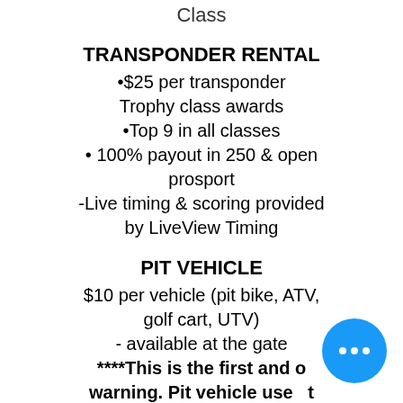Class
TRANSPONDER RENTAL
•$25 per transponder
Trophy class awards
•Top 9 in all classes
• 100% payout in 250 & open prosport
-Live timing & scoring provided by LiveView Timing
PIT VEHICLE
$10 per vehicle (pit bike, ATV, golf cart, UTV)
- available at the gate
****This is the first and only warning. Pit vehicle use is a privilege! Abuse of this